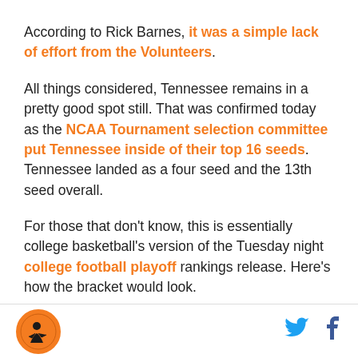According to Rick Barnes, it was a simple lack of effort from the Volunteers.
All things considered, Tennessee remains in a pretty good spot still. That was confirmed today as the NCAA Tournament selection committee put Tennessee inside of their top 16 seeds. Tennessee landed as a four seed and the 13th seed overall.
For those that don't know, this is essentially college basketball's version of the Tuesday night college football playoff rankings release. Here's how the bracket would look.